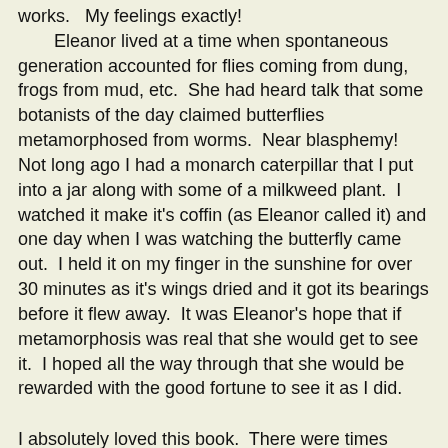works.   My feelings exactly!
    Eleanor lived at a time when spontaneous generation accounted for flies coming from dung, frogs from mud, etc.  She had heard talk that some botanists of the day claimed butterflies metamorphosed from worms.  Near blasphemy!  Not long ago I had a monarch caterpillar that I put into a jar along with some of a milkweed plant.  I watched it make it's coffin (as Eleanor called it) and one day when I was watching the butterfly came out.  I held it on my finger in the sunshine for over 30 minutes as it's wings dried and it got its bearings before it flew away.  It was Eleanor's hope that if metamorphosis was real that she would get to see it.  I hoped all the way through that she would be rewarded with the good fortune to see it as I did.
I absolutely loved this book.  There were times when plots were being laid and foundation information unfolded that I wondered if this book could have been a little shorter, but now I don't think so.  Can't wait to hear from someone else